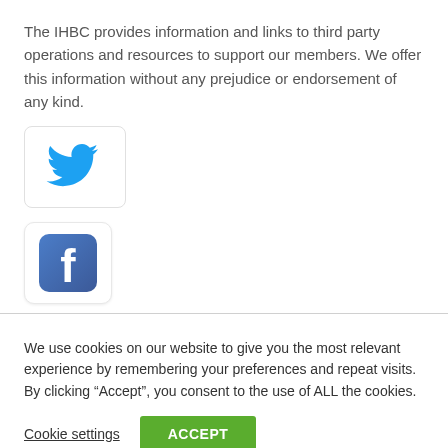The IHBC provides information and links to third party operations and resources to support our members. We offer this information without any prejudice or endorsement of any kind.
[Figure (logo): Twitter bird logo icon in blue, inside a white rounded rectangle with light border]
[Figure (logo): Facebook 'f' logo icon, white letter on blue gradient rounded square background, inside a white rounded rectangle with light border]
We use cookies on our website to give you the most relevant experience by remembering your preferences and repeat visits. By clicking “Accept”, you consent to the use of ALL the cookies.
Cookie settings
ACCEPT